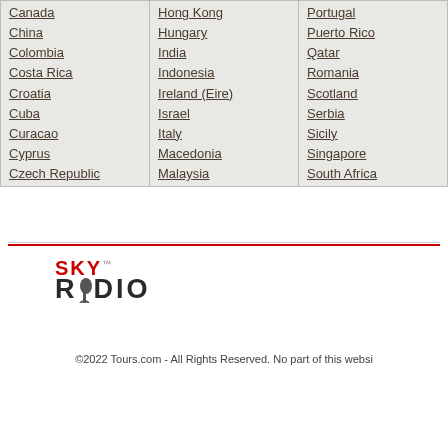| Column1 | Column2 | Column3 |
| --- | --- | --- |
| Canada | Hong Kong | Portugal |
| China | Hungary | Puerto Rico |
| Colombia | India | Qatar |
| Costa Rica | Indonesia | Romania |
| Croatia | Ireland (Eire) | Scotland |
| Cuba | Israel | Serbia |
| Curacao | Italy | Sicily |
| Cyprus | Macedonia | Singapore |
| Czech Republic | Malaysia | South Africa |
[Figure (logo): Sky Radio logo with red SKY text and dark gray RADIO text]
©2022 Tours.com - All Rights Reserved. No part of this websi...